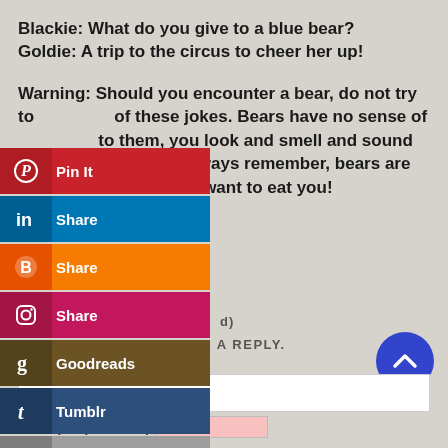Blackie: What do you give to a blue bear?
Goldie: A trip to the circus to cheer her up!
Warning: Should you encounter a bear, do not try to tell any of these jokes. Bears have no sense of humor. To them, you look and smell and sound and move like food. Always remember, bears are powerful animals that want to eat you!
[Figure (screenshot): Social share buttons overlay: Pinterest Pin It, LinkedIn Share, Blogger Share, Instagram Share, Goodreads, Tumblr, More]
LEAVE A REPLY.
[Figure (other): Blue circular scroll-to-top button with upward chevron arrow]
Name (required)
Email (not published)